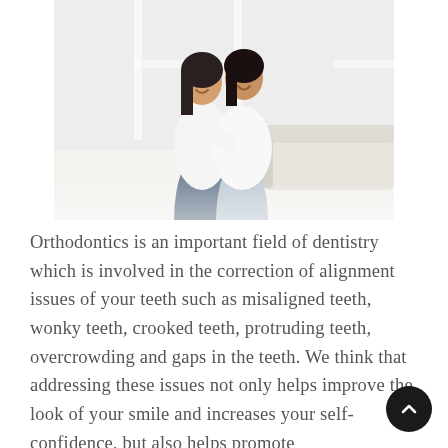[Figure (photo): Two young Asian women smiling and embracing each other, both wearing white tops and jeans, standing in a bright white room with a light sofa in the background.]
Orthodontics is an important field of dentistry which is involved in the correction of alignment issues of your teeth such as misaligned teeth, wonky teeth, crooked teeth, protruding teeth, overcrowding and gaps in the teeth. We think that addressing these issues not only helps improve the look of your smile and increases your self-confidence, but also helps promote